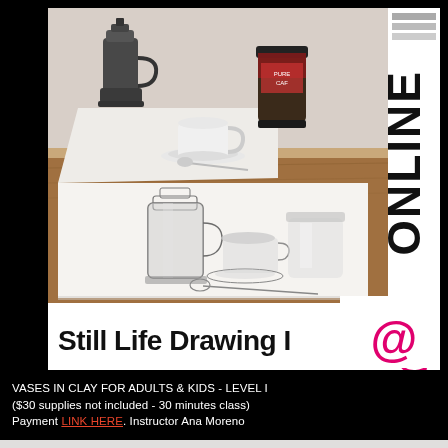[Figure (photo): Photo of a still life scene on a wooden table showing a moka pot, coffee cup with saucer, and a jar of coffee, alongside a pencil drawing of the same objects on white paper below.]
Still Life Drawing I @ONLINE CLASS
VASES IN CLAY FOR ADULTS & KIDS - LEVEL I ($30 supplies not included - 30 minutes class) Payment LINK HERE. Instructor Ana Moreno